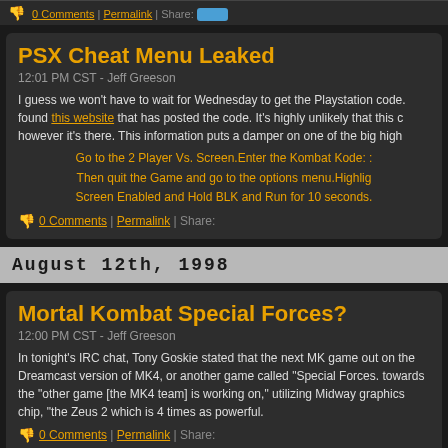0 Comments | Permalink | Share:
PSX Cheat Menu Leaked
12:01 PM CST - Jeff Greeson
I guess we won't have to wait for Wednesday to get the Playstation code. found this website that has posted the code. It's highly unlikely that this c however it's there. This information puts a damper on one of the big high
Go to the 2 Player Vs. Screen.Enter the Kombat Kode: Then quit the Game and go to the options menu.Highlig Screen Enabled and Hold BLK and Run for 10 seconds.
0 Comments | Permalink | Share:
August 12th, 1998
Mortal Kombat Special Forces?
12:00 PM CST - Jeff Greeson
In tonight's IRC chat, Tony Goskie stated that the next MK game out on the Dreamcast version of MK4, or another game called "Special Forces. towards the "other game [the MK4 team] is working on," utilizing Midway graphics chip, "the Zeus 2 which is 4 times as powerful.
0 Comments | Permalink | Share: